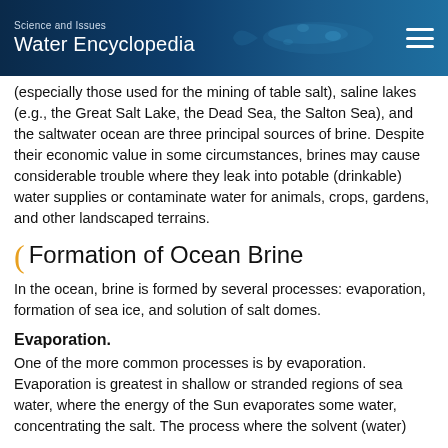Science and Issues
Water Encyclopedia
(especially those used for the mining of table salt), saline lakes (e.g., the Great Salt Lake, the Dead Sea, the Salton Sea), and the saltwater ocean are three principal sources of brine. Despite their economic value in some circumstances, brines may cause considerable trouble where they leak into potable (drinkable) water supplies or contaminate water for animals, crops, gardens, and other landscaped terrains.
Formation of Ocean Brine
In the ocean, brine is formed by several processes: evaporation, formation of sea ice, and solution of salt domes.
Evaporation.
One of the more common processes is by evaporation. Evaporation is greatest in shallow or stranded regions of sea water, where the energy of the Sun evaporates some water, concentrating the salt. The process where the solvent (water)